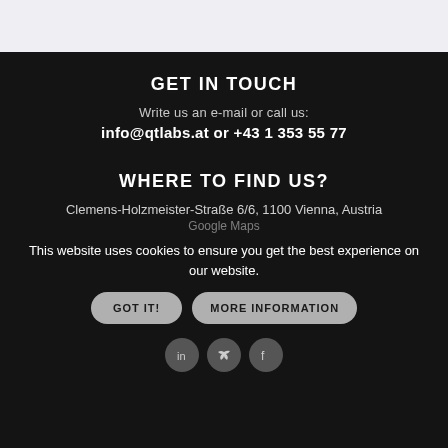GET IN TOUCH
Write us an e-mail or call us:
info@qtlabs.at or +43 1 353 55 77
WHERE TO FIND US?
Clemens-Holzmeister-Straße 6/6, 1100 Vienna, Austria
Google Maps
This website uses cookies to ensure you get the best experience on our website.
GOT IT!
MORE INFORMATION